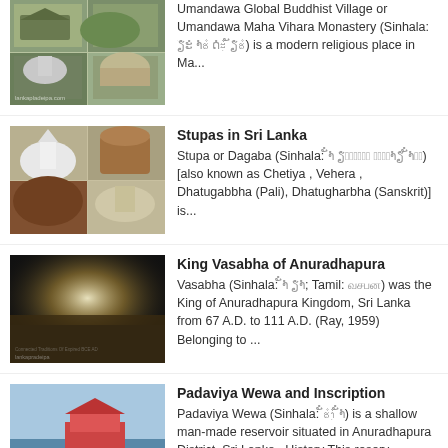Umandawa Global Buddhist Village or Umandawa Maha Vihara Monastery (Sinhala: [sinhala text]) is a modern religious place in Ma...
Stupas in Sri Lanka
Stupa or Dagaba (Sinhala: [sinhala text]) [also known as Chetiya , Vehera , Dhatugabbha (Pali), Dhatugharbha (Sanskrit)] is...
King Vasabha of Anuradhapura
Vasabha (Sinhala: [sinhala text]; Tamil: [tamil text]) was the King of Anuradhapura Kingdom, Sri Lanka from 67 A.D. to 111 A.D. (Ray, 1959) Belonging to ...
Padaviya Wewa and Inscription
Padaviya Wewa (Sinhala: [sinhala text]) is a shallow man-made reservoir situated in Anuradhapura District, Sri Lanka. History This reserv...
Kingdom of Polonnaruwa
The Kingdom of Polonnaruwa (also known as Pulastipura ) (Sinhala: [sinhala text] / [sinhala text]; Tamil: [tamil text]) was the second ...